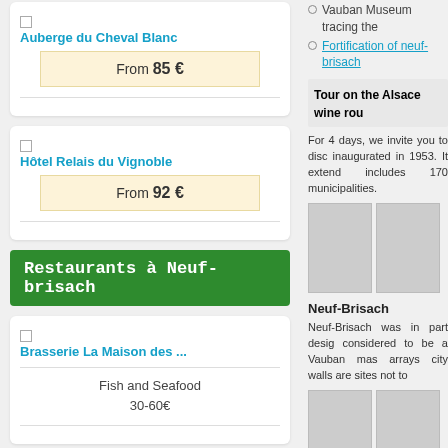Auberge du Cheval Blanc
From 85 €
Hôtel Relais du Vignoble
From 92 €
Restaurants à Neuf-brisach
Brasserie La Maison des ...
Fish and Seafood
30-60€
Manifestations à Neuf-brisach
[Figure (photo): Colmar Christmas Market image placeholder]
Colmar Christmas Market
Vauban Museum tracing the
Fortification of neuf-brisach
Tour on the Alsace wine rou
For 4 days, we invite you to disc inaugurated in 1953. It extend includes 170 municipalities.
[Figure (photo): Grey placeholder images for wine route]
Neuf-Brisach
Neuf-Brisach was in part desig considered to be a Vauban mas arrays city walls are sites not to
[Figure (photo): Grey placeholder images for Neuf-Brisach]
Colmar
Some cities are too small an